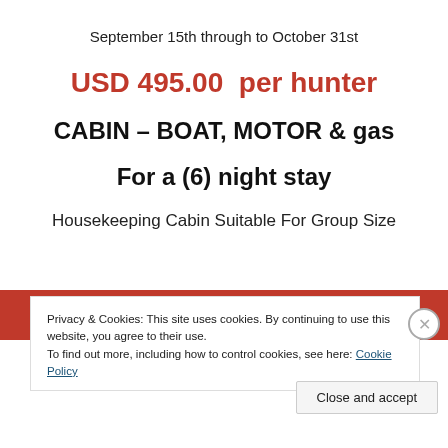September 15th through to October 31st
USD 495.00  per hunter
CABIN – BOAT, MOTOR & gas
For a (6) night stay
Housekeeping Cabin Suitable For Group Size
[Figure (screenshot): Red banner with 'Start reading' button]
Privacy & Cookies: This site uses cookies. By continuing to use this website, you agree to their use.
To find out more, including how to control cookies, see here: Cookie Policy